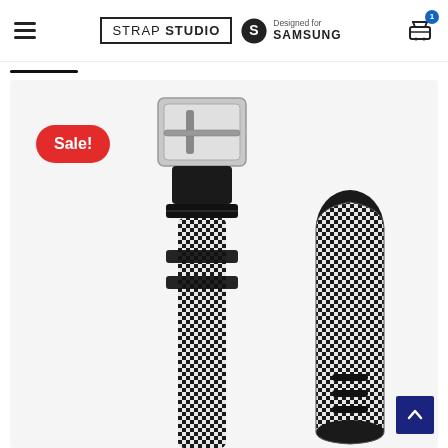Strap Studio | Designed for Samsung
[Figure (photo): Product photo of a black and white checkered/mesh Samsung watch strap with silver metal buckle, shown in two pieces on a light gray background. A red 'Sale!' badge overlay is in the top left of the image.]
[Figure (other): Back to top navigation button, blue square with white chevron arrow pointing up, bottom right corner.]